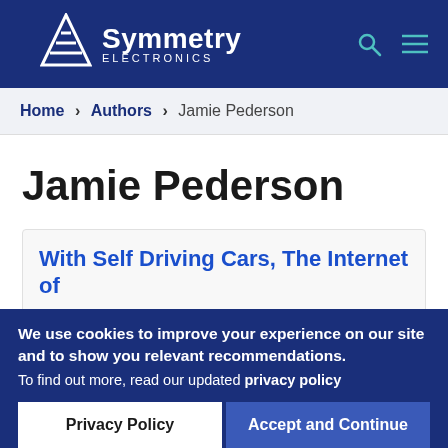Symmetry Electronics
Home > Authors > Jamie Pederson
Jamie Pederson
With Self Driving Cars, The Internet of
We use cookies to improve your experience on our site and to show you relevant recommendations. To find out more, read our updated privacy policy
Privacy Policy | Accept and Continue